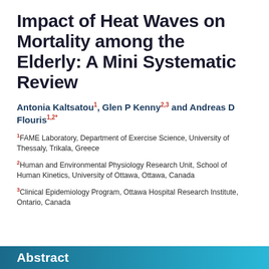Impact of Heat Waves on Mortality among the Elderly: A Mini Systematic Review
Antonia Kaltsatou1, Glen P Kenny2,3 and Andreas D Flouris1,2*
1FAME Laboratory, Department of Exercise Science, University of Thessaly, Trikala, Greece
2Human and Environmental Physiology Research Unit, School of Human Kinetics, University of Ottawa, Ottawa, Canada
3Clinical Epidemiology Program, Ottawa Hospital Research Institute, Ontario, Canada
Abstract